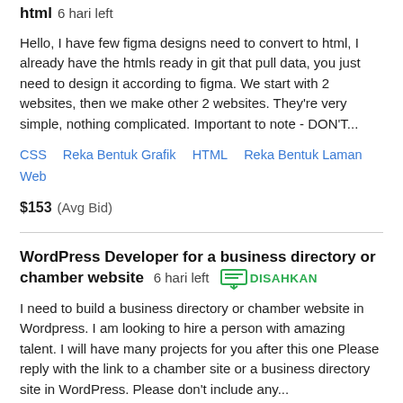html  6 hari left
Hello, I have few figma designs need to convert to html, I already have the htmls ready in git that pull data, you just need to design it according to figma. We start with 2 websites, then we make other 2 websites. They're very simple, nothing complicated. Important to note - DON'T...
CSS   Reka Bentuk Grafik   HTML   Reka Bentuk Laman Web
$153  (Avg Bid)
WordPress Developer for a business directory or chamber website  6 hari left  DISAHKAN
I need to build a business directory or chamber website in Wordpress. I am looking to hire a person with amazing talent. I will have many projects for you after this one Please reply with the link to a chamber site or a business directory site in WordPress. Please don't include any...